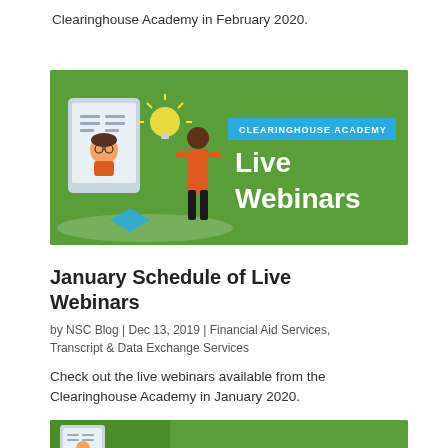Clearinghouse Academy in February 2020.
[Figure (illustration): Clearinghouse Academy Live Webinars banner with illustration of person at a tablet screen and text 'CLEARINGHOUSE ACADEMY Live Webinars' on green background with blue accent bar.]
January Schedule of Live Webinars
by NSC Blog | Dec 13, 2019 | Financial Aid Services, Transcript & Data Exchange Services
Check out the live webinars available from the Clearinghouse Academy in January 2020.
[Figure (illustration): Partial view of another Clearinghouse Academy webinar banner at the bottom of the page.]